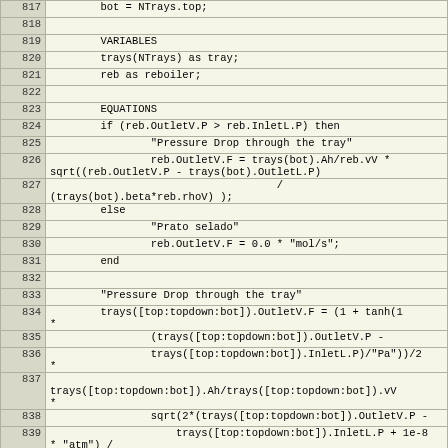[Figure (screenshot): Source code listing showing lines 817-842 of an engineering simulation file with VARIABLES, EQUATIONS, and CONNECTIONS sections for a distillation column model with trays and reboiler]